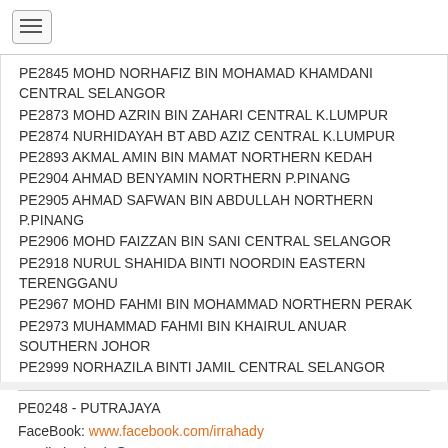[hamburger menu icon]
PE2845 MOHD NORHAFIZ BIN MOHAMAD KHAMDANI CENTRAL SELANGOR
PE2873 MOHD AZRIN BIN ZAHARI CENTRAL K.LUMPUR
PE2874 NURHIDAYAH BT ABD AZIZ CENTRAL K.LUMPUR
PE2893 AKMAL AMIN BIN MAMAT NORTHERN KEDAH
PE2904 AHMAD BENYAMIN NORTHERN P.PINANG
PE2905 AHMAD SAFWAN BIN ABDULLAH NORTHERN P.PINANG
PE2906 MOHD FAIZZAN BIN SANI CENTRAL SELANGOR
PE2918 NURUL SHAHIDA BINTI NOORDIN EASTERN TERENGGANU
PE2967 MOHD FAHMI BIN MOHAMMAD NORTHERN PERAK
PE2973 MUHAMMAD FAHMI BIN KHAIRUL ANUAR SOUTHERN JOHOR
PE2999 NORHAZILA BINTI JAMIL CENTRAL SELANGOR
PE0248 - PUTRAJAYA
FaceBook: www.facebook.com/irrahady
eMail : irrahady@ppeoc.my